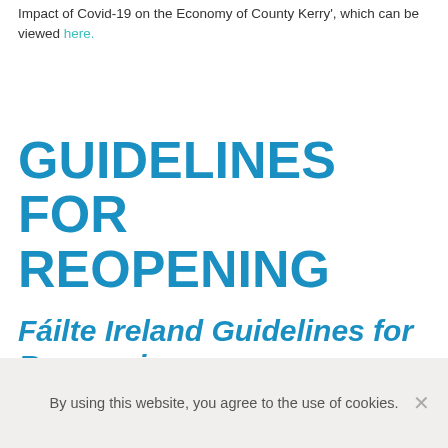Impact of Covid-19 on the Economy of County Kerry', which can be viewed here.
GUIDELINES FOR REOPENING
Fáilte Ireland Guidelines for Re-opening
By using this website, you agree to the use of cookies.